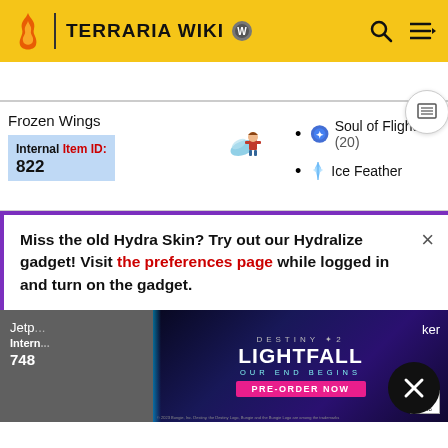TERRARIA WIKI
| Item | Sprite | Ingredients |
| --- | --- | --- |
| Frozen Wings
Internal Item ID: 822 | [sprite] | Soul of Flight (20)
Ice Feather |
Miss the old Hydra Skin? Try out our Hydralize gadget! Visit the preferences page while logged in and turn on the gadget.
Jetp...
Intern...
748
[Figure (screenshot): Destiny 2 Lightfall advertisement: OUR END BEGINS · PRE-ORDER NOW]